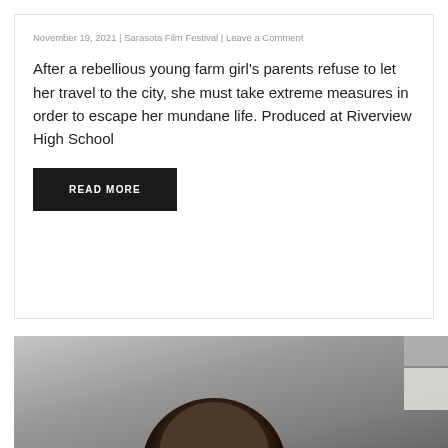November 19, 2021 | Sarasota Film Festival | Leave a Comment
After a rebellious young farm girl’s parents refuse to let her travel to the city, she must take extreme measures in order to escape her mundane life. Produced at Riverview High School
READ MORE
[Figure (photo): Black and white photo of a person with dark hair, partially cropped, with a small UI overlay element in the top right corner.]